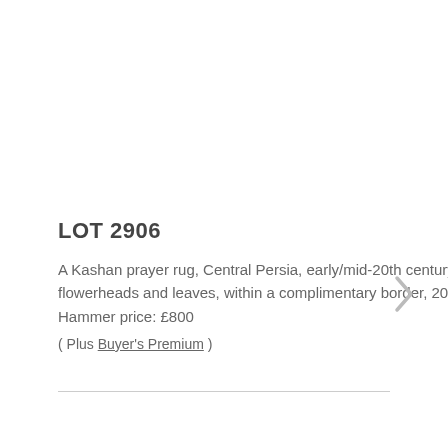LOT 2906
A Kashan prayer rug, Central Persia, early/mid-20th century, the ink blue mihrab with bold ascending palmettes, flowerheads and leaves, within a complimentary border, 200cm x 133cm.
Hammer price: £800
( Plus Buyer's Premium )